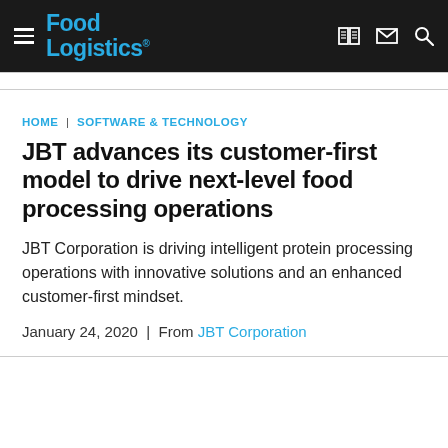Food Logistics
HOME | SOFTWARE & TECHNOLOGY
JBT advances its customer-first model to drive next-level food processing operations
JBT Corporation is driving intelligent protein processing operations with innovative solutions and an enhanced customer-first mindset.
January 24, 2020 | From JBT Corporation